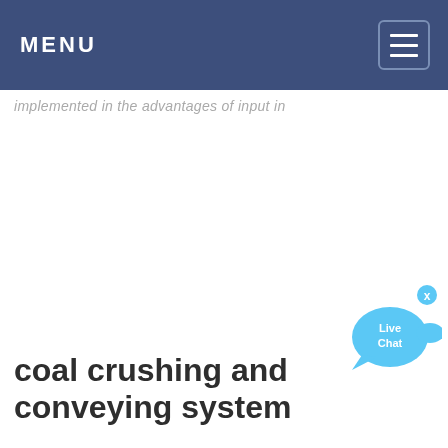MENU
implemented in the advantages of input in
coal crushing and conveying system
[Figure (other): Live Chat speech bubble widget icon in blue]
· Conveyor Crushing Mill Creek Engineering Coal Crushing and Conveying Millcreek provided detailed engineering services, procurement, and construction management for a run of mine truck dump to truck loadout facility. The project included a 500 ton hopper, 850 ...